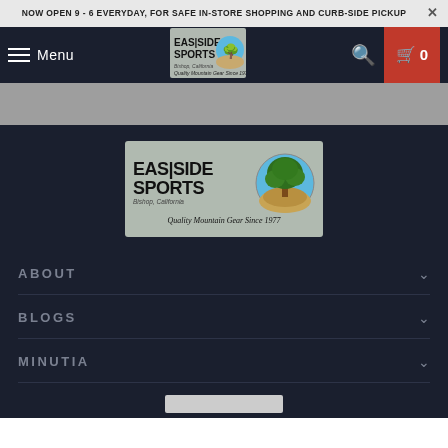NOW OPEN 9 - 6 EVERYDAY, FOR SAFE IN-STORE SHOPPING AND CURB-SIDE PICKUP
[Figure (screenshot): Navigation bar with hamburger menu, Menu text, Eastside Sports logo, search icon, and red cart button showing 0]
[Figure (logo): Eastside Sports logo large — brand name with tree illustration, location Bishop California, tagline Quality Mountain Gear Since 1977]
ABOUT
BLOGS
MINUTIA